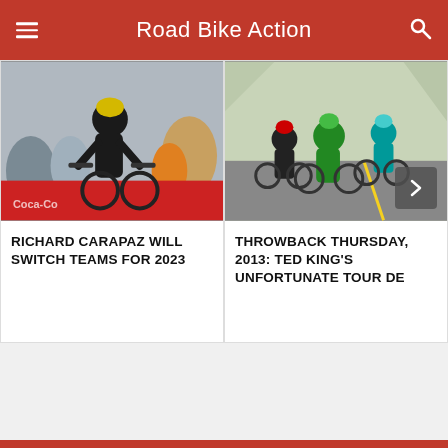Road Bike Action
[Figure (photo): Cyclist Richard Carapaz racing in wet conditions, wearing black and yellow helmet, surrounded by crowd]
RICHARD CARAPAZ WILL SWITCH TEAMS FOR 2023
[Figure (photo): Group of cyclists racing on a road, rider in green jersey prominent in center]
THROWBACK THURSDAY, 2013: TED KING'S UNFORTUNATE TOUR DE